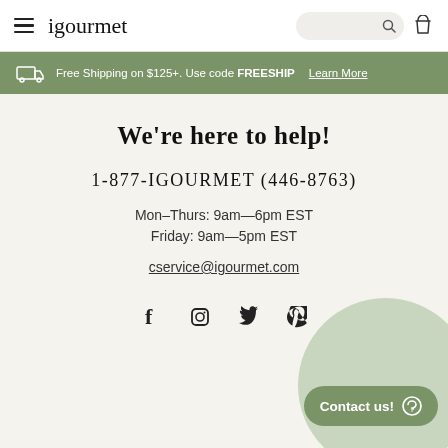igourmet — navigation header with hamburger menu, search, and basket
Free Shipping on $125+. Use code FREESHIP  Learn More
We're here to help!
1-877-IGOURMET (446-8763)
Mon–Thurs: 9am—6pm EST
Friday: 9am—5pm EST
cservice@igourmet.com
[Figure (infographic): Social media icons row: Facebook, Instagram, Twitter, Pinterest (partially visible)]
[Figure (infographic): Contact us chat bubble button with circular green background overlay in bottom right corner]